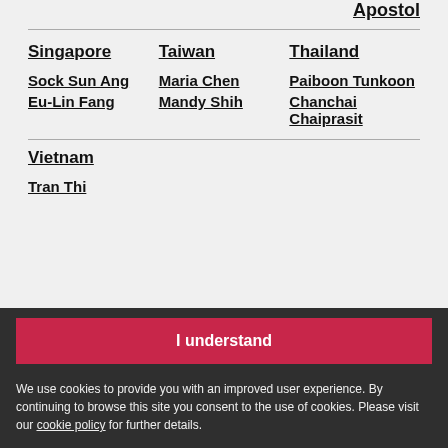Apostol
Singapore
Taiwan
Thailand
Sock Sun Ang
Maria Chen
Paiboon Tunkoon
Eu-Lin Fang
Mandy Shih
Chanchai Chaiprasit
Vietnam
Tran Thi
I understand
We use cookies to provide you with an improved user experience. By continuing to browse this site you consent to the use of cookies. Please visit our cookie policy for further details.
Contact us